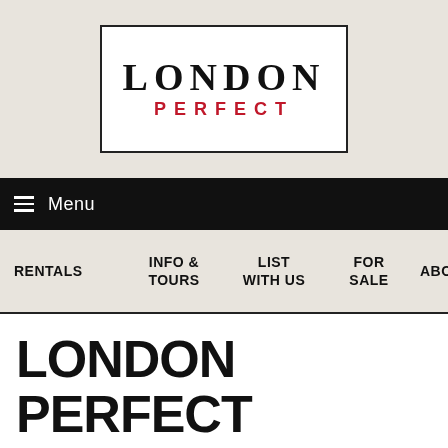[Figure (logo): London Perfect logo: black bordered white rectangle with 'LONDON' in large black serif letters and 'PERFECT' in smaller red spaced sans-serif letters below]
Menu
RENTALS | INFO & TOURS | LIST WITH US | FOR SALE | ABO
LONDON PERFECT HONORED BY CONDÉ